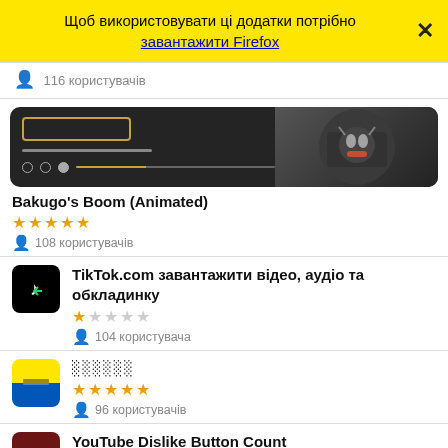Щоб використовувати ці додатки потрібно завантажити Firefox
116 користувачів
[Figure (screenshot): Animated browser screenshot showing Bakugo themed media player UI with dark background and anime character]
Bakugo's Boom (Animated)
108 користувачів
TikTok.com завантажити відео, аудіо та обкладинку
104 користувача
░░░░░░
96 користувачів
YouTube Dislike Button Count
85 користувачів